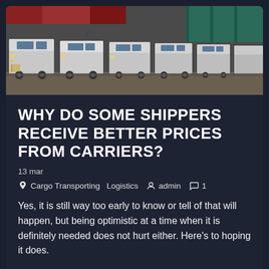[Figure (photo): Row of white freight trucks/lorries parked at a logistics depot with shipping containers in background]
WHY DO SOME SHIPPERS RECEIVE BETTER PRICES FROM CARRIERS?
13 mar
Cargo Transporting  Logistics   admin   1
Yes, it is still way too early to know or tell of that will happen, but being optimistic at a time when it is definitely needed does not hurt either. Here's to hoping it does.
Read More →